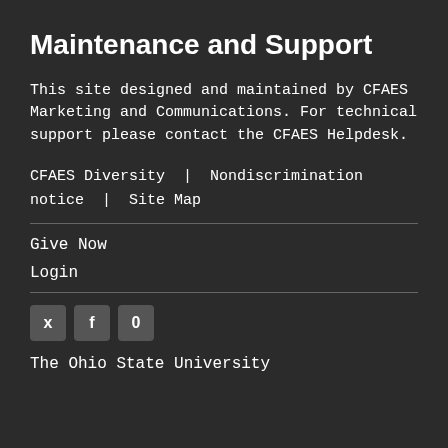Maintenance and Support
This site designed and maintained by CFAES Marketing and Communications. For technical support please contact the CFAES Helpdesk.
CFAES Diversity  |  Nondiscrimination notice  |  Site Map
Give Now
Login
[Figure (other): Social media icons: Twitter (bird), Facebook (f), and YouTube (circle/play)]
The Ohio State University